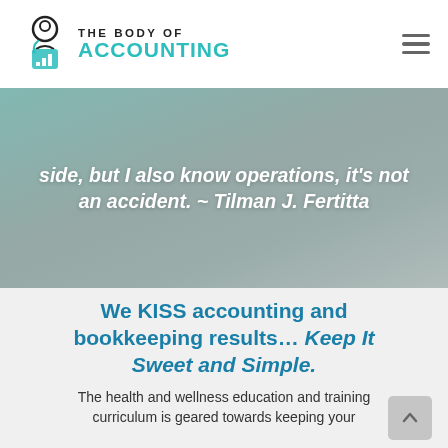[Figure (logo): The Body of Accounting logo with circular icon of a person and bar chart]
side, but I also know operations, it's not an accident. ~ Tilman J. Fertitta
We KISS accounting and bookkeeping results... Keep It Sweet and Simple.
The health and wellness education and training curriculum is geared towards keeping your